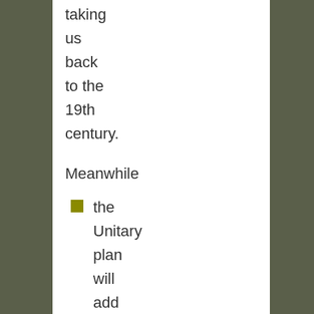taking us back to the 19th century.
Meanwhile
the Unitary plan will add 2 sq kilometers of impervious surface to Meola catchment alone
we understand that 75%